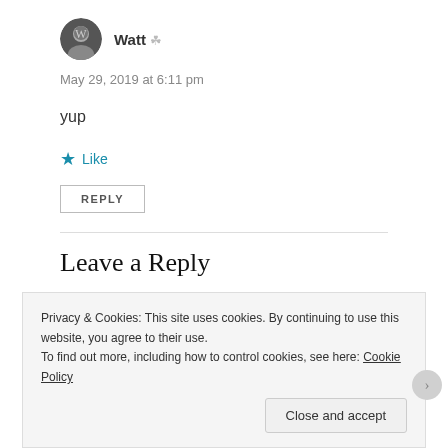[Figure (photo): Round avatar photo of user Watt, black and white portrait]
Watt
May 29, 2019 at 6:11 pm
yup
Like
REPLY
Leave a Reply
Privacy & Cookies: This site uses cookies. By continuing to use this website, you agree to their use.
To find out more, including how to control cookies, see here: Cookie Policy
Close and accept